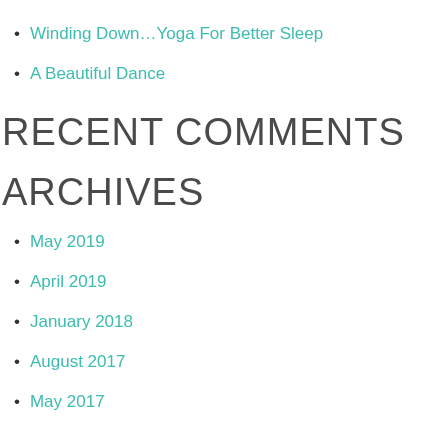Be.There.Now.
Winding Down…Yoga For Better Sleep
A Beautiful Dance
RECENT COMMENTS
ARCHIVES
May 2019
April 2019
January 2018
August 2017
May 2017